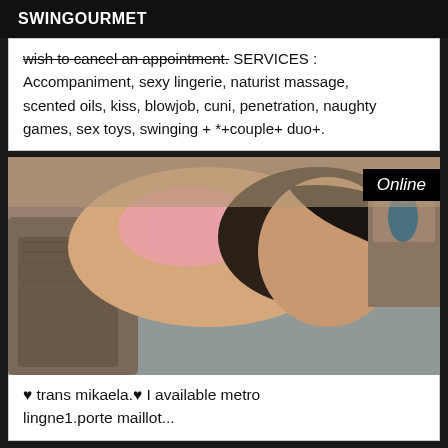SWINGOURMET
wish to cancel an appointment. SERVICES : Accompaniment, sexy lingerie, naturist massage, scented oils, kiss, blowjob, cuni, penetration, naughty games, sex toys, swinging + *+couple+ duo+.
[Figure (photo): Photo of a woman wearing pink lingerie and stockings, posing on a couch. An 'Online' badge appears in the top right corner.]
♥ trans mikaela.♥ I available metro lingne1.porte maillot...